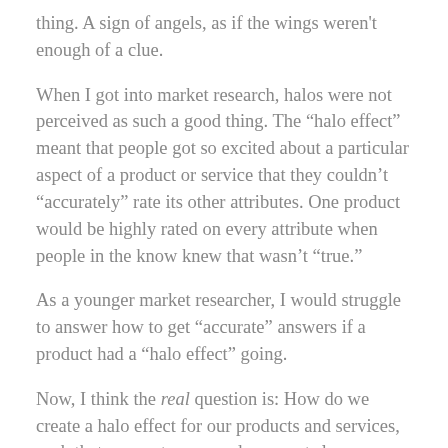thing. A sign of angels, as if the wings weren't enough of a clue.
When I got into market research, halos were not perceived as such a good thing. The “halo effect” meant that people got so excited about a particular aspect of a product or service that they couldn’t “accurately” rate its other attributes. One product would be highly rated on every attribute when people in the know knew that wasn’t “true.”
As a younger market researcher, I would struggle to answer how to get “accurate” answers if a product had a “halo effect” going.
Now, I think the real question is: How do we create a halo effect for our products and services, such that our customers and prospects love us so much that they think we are great at everything? The secret, of course,